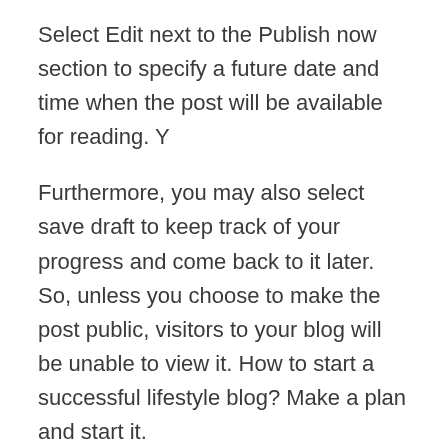Select Edit next to the Publish now section to specify a future date and time when the post will be available for reading. Y
Furthermore, you may also select save draft to keep track of your progress and come back to it later. So, unless you choose to make the post public, visitors to your blog will be unable to view it. How to start a successful lifestyle blog? Make a plan and start it.
HOW TO CREATE WORDPRESS PAGES?
Pages, which are comparable to posts, are also available in WordPress. Posts are intended to be timely updates, or at the very